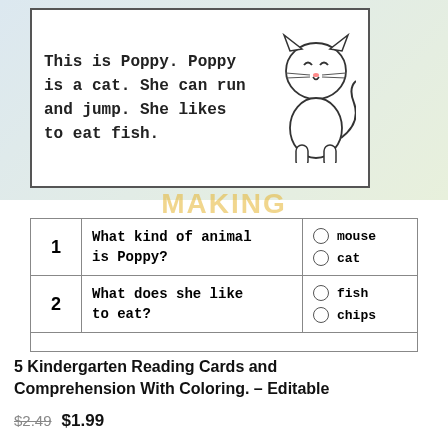[Figure (illustration): A kindergarten reading comprehension card showing text about a cat named Poppy with a cat illustration, plus a quiz table with multiple choice questions.]
This is Poppy. Poppy is a cat. She can run and jump. She likes to eat fish.
| # | Question | Answers |
| --- | --- | --- |
| 1 | What kind of animal is Poppy? | ○ mouse
○ cat |
| 2 | What does she like to eat? | ○ fish
○ chips |
5 Kindergarten Reading Cards and Comprehension With Coloring. – Editable
$2.49 $1.99